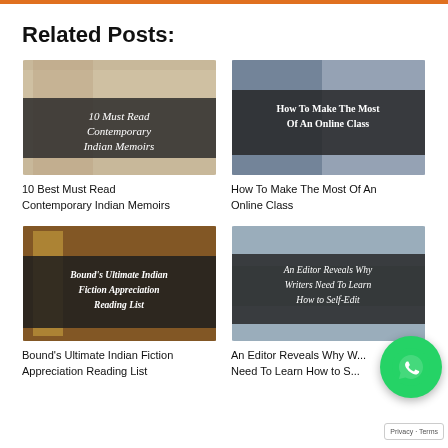Related Posts:
[Figure (photo): Photo of hands with pens/pencils on a desk with text overlay: '10 Must Read Contemporary Indian Memoirs']
10 Best Must Read Contemporary Indian Memoirs
[Figure (photo): Photo of a person at a desk with laptop and notebook, text overlay: 'How To Make The Most Of An Online Class']
How To Make The Most Of An Online Class
[Figure (photo): Photo of an ornate door, text overlay: 'Bound's Ultimate Indian Fiction Appreciation Reading List']
Bound's Ultimate Indian Fiction Appreciation Reading List
[Figure (photo): Photo with notebook/pen, text overlay: 'An Editor Reveals Why Writers Need To Learn How to Self-Edit']
An Editor Reveals Why W... Need To Learn How to S...